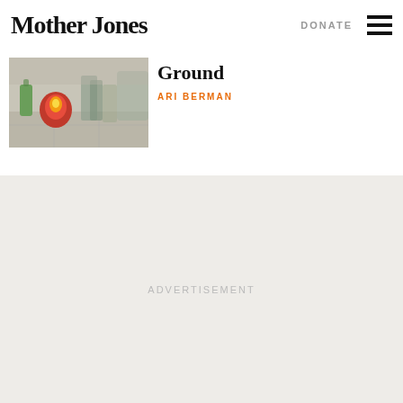Mother Jones
DONATE
[Figure (screenshot): Thumbnail image of people standing near objects on the ground]
Ground
ARI BERMAN
ADVERTISEMENT